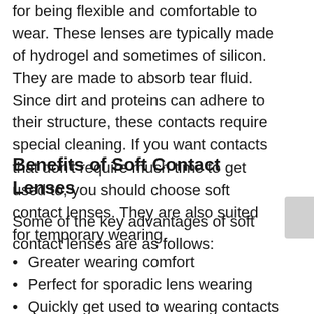for being flexible and comfortable to wear. These lenses are typically made of hydrogel and sometimes of silicon. They are made to absorb tear fluid. Since dirt and proteins can adhere to their structure, these contacts require special cleaning. If you want contacts that don't require much time to get used to, you should choose soft contact lenses. They are also suited for temporary wearing.
Benefits of Soft Contact Lenses
Some of the key advantages of soft contact lenses are as follows:
Greater wearing comfort
Perfect for sporadic lens wearing
Quickly get used to wearing contacts
Eliminate the feeling of foreign body
Better adhesion